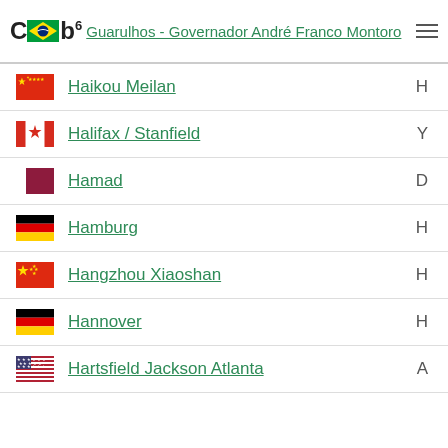Cub6 Guarulhos - Governador André Franco Montoro
Haikou Meilan
Halifax / Stanfield
Hamad
Hamburg
Hangzhou Xiaoshan
Hannover
Hartsfield Jackson Atlanta